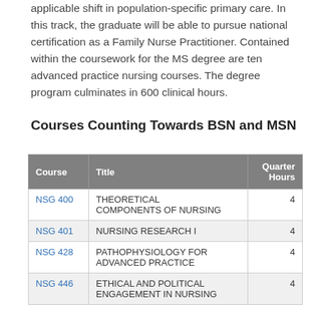applicable shift in population-specific primary care. In this track, the graduate will be able to pursue national certification as a Family Nurse Practitioner. Contained within the coursework for the MS degree are ten advanced practice nursing courses. The degree program culminates in 600 clinical hours.
Courses Counting Towards BSN and MSN
| Course | Title | Quarter Hours |
| --- | --- | --- |
| NSG 400 | THEORETICAL COMPONENTS OF NURSING | 4 |
| NSG 401 | NURSING RESEARCH I | 4 |
| NSG 428 | PATHOPHYSIOLOGY FOR ADVANCED PRACTICE | 4 |
| NSG 446 | ETHICAL AND POLITICAL ENGAGEMENT IN NURSING | 4 |